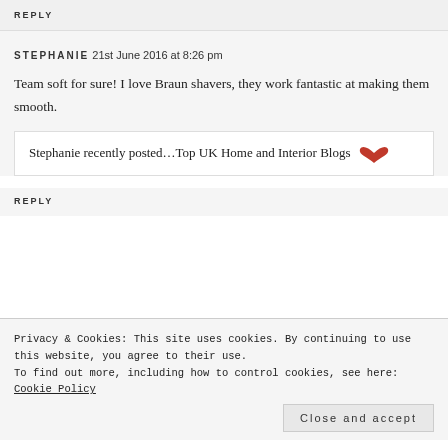REPLY
STEPHANIE 21st June 2016 at 8:26 pm
Team soft for sure! I love Braun shavers, they work fantastic at making them smooth.
Stephanie recently posted…Top UK Home and Interior Blogs
REPLY
Privacy & Cookies: This site uses cookies. By continuing to use this website, you agree to their use. To find out more, including how to control cookies, see here: Cookie Policy
Close and accept
husband and also will gift him. Thank you for